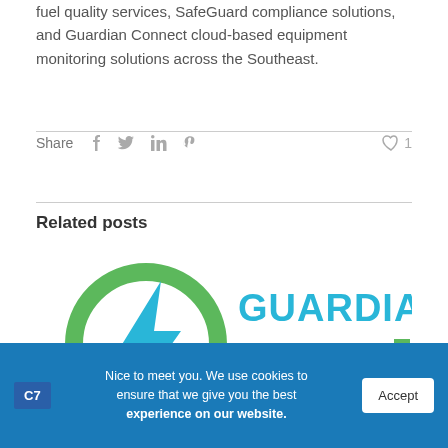fuel quality services, SafeGuard compliance solutions, and Guardian Connect cloud-based equipment monitoring solutions across the Southeast.
Share
[Figure (logo): Guardian EVI logo: green circular bolt icon on left, 'GUARDIAN' in blue bold text with 'EVI' in large gray letters and green accent bar on right]
Related posts
Nice to meet you. We use cookies to ensure that we give you the best experience on our website.